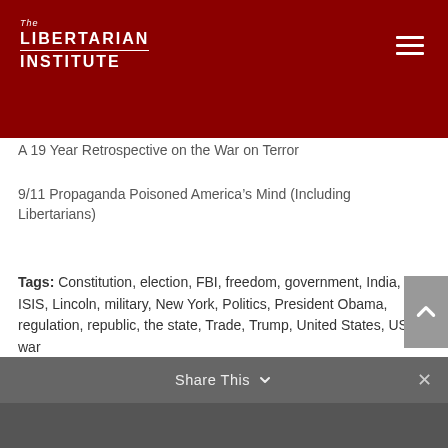The Libertarian Institute
A 19 Year Retrospective on the War on Terror
9/11 Propaganda Poisoned America's Mind (Including Libertarians)
Tags: Constitution, election, FBI, freedom, government, India, ISIS, Lincoln, military, New York, Politics, President Obama, regulation, republic, the state, Trade, Trump, United States, US, war